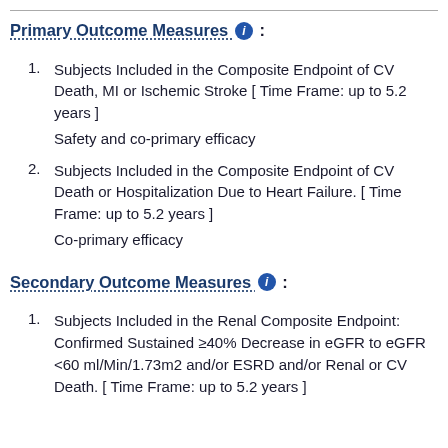Primary Outcome Measures :
Subjects Included in the Composite Endpoint of CV Death, MI or Ischemic Stroke [ Time Frame: up to 5.2 years ]
Safety and co-primary efficacy
Subjects Included in the Composite Endpoint of CV Death or Hospitalization Due to Heart Failure. [ Time Frame: up to 5.2 years ]
Co-primary efficacy
Secondary Outcome Measures :
Subjects Included in the Renal Composite Endpoint: Confirmed Sustained ≥40% Decrease in eGFR to eGFR <60 ml/Min/1.73m2 and/or ESRD and/or Renal or CV Death. [ Time Frame: up to 5.2 years ]